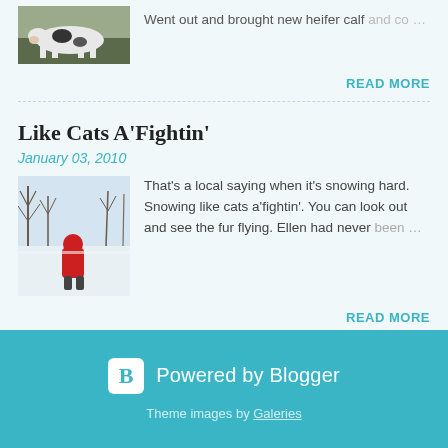[Figure (photo): Thumbnail image of a cow/heifer in a field]
Went out and brought new heifer calf and co…
READ MORE
Like Cats A'Fightin'
January 03, 2010
[Figure (photo): Child in red coat standing in snowy field with bare trees in background]
That's a local saying when it's snowing hard. Snowing like cats a'fightin'. You can look out and see the fur flying. Ellen had never been…
READ MORE
Powered by Blogger
Theme images by Galeries